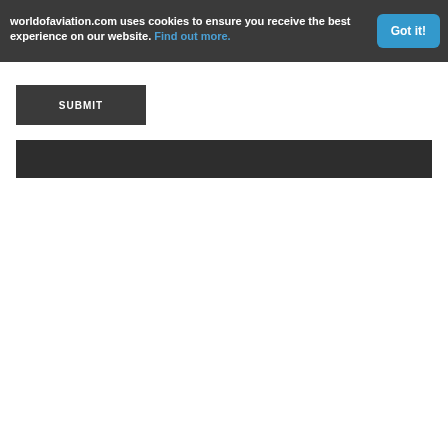worldofaviation.com uses cookies to ensure you receive the best experience on our website. Find out more.
Got it!
SUBMIT